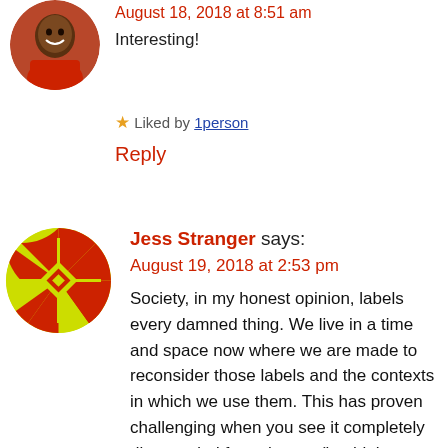[Figure (photo): Round avatar photo of a person wearing a red shirt, smiling]
August 18, 2018 at 8:51 am
Interesting!
★ Liked by 1person
Reply
[Figure (illustration): Round avatar with yellow/green geometric pattern (kente-style design) for Jess Stranger]
Jess Stranger says:
August 19, 2018 at 2:53 pm
Society, in my honest opinion, labels every damned thing. We live in a time and space now where we are made to reconsider those labels and the contexts in which we use them. This has proven challenging when you see it completely disregarded from the top (i.e. high society), down (average society). Very good arguments here and I learned a thing or two. ✌